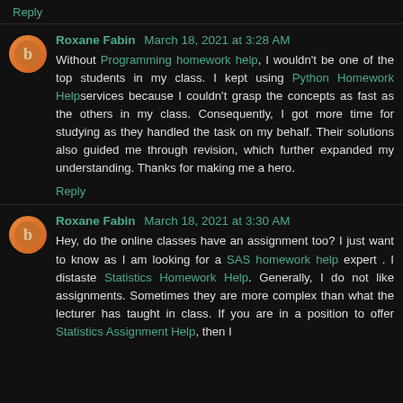Reply
Roxane Fabin March 18, 2021 at 3:28 AM
Without Programming homework help, I wouldn't be one of the top students in my class. I kept using Python Homework Helpservices because I couldn't grasp the concepts as fast as the others in my class. Consequently, I got more time for studying as they handled the task on my behalf. Their solutions also guided me through revision, which further expanded my understanding. Thanks for making me a hero.
Reply
Roxane Fabin March 18, 2021 at 3:30 AM
Hey, do the online classes have an assignment too? I just want to know as I am looking for a SAS homework help expert . I distaste Statistics Homework Help. Generally, I do not like assignments. Sometimes they are more complex than what the lecturer has taught in class. If you are in a position to offer Statistics Assignment Help, then I